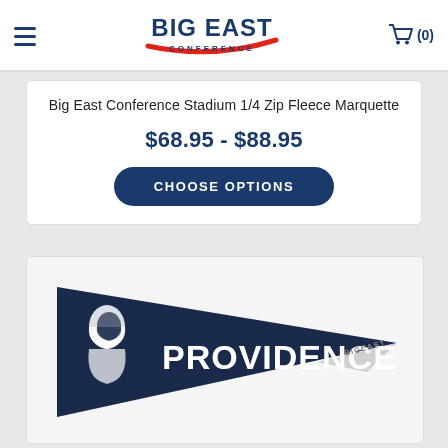BIG EAST CONFERENCE
Big East Conference Stadium 1/4 Zip Fleece Marquette
$68.95 - $88.95
CHOOSE OPTIONS
[Figure (photo): Providence College pennant in dark navy with white Providence Friar logo, PROVIDENCE text, and Big East Conference branding on the tip]